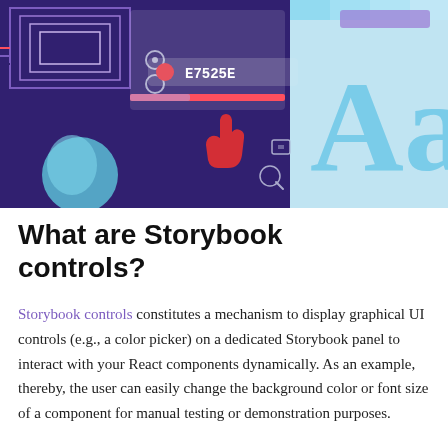[Figure (illustration): A colorful digital illustration showing UI design elements: purple background with circuit-like patterns on the left, a color picker panel in the center showing color code E7525E, a cursor/hand icon, UI component icons, and a large 'Aa' typography symbol on the right with a light blue tint.]
What are Storybook controls?
Storybook controls constitutes a mechanism to display graphical UI controls (e.g., a color picker) on a dedicated Storybook panel to interact with your React components dynamically. As an example, thereby, the user can easily change the background color or font size of a component for manual testing or demonstration purposes.